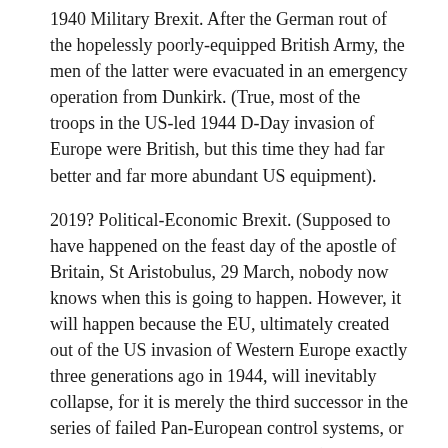1940 Military Brexit. After the German rout of the hopelessly poorly-equipped British Army, the men of the latter were evacuated in an emergency operation from Dunkirk. (True, most of the troops in the US-led 1944 D-Day invasion of Europe were British, but this time they had far better and far more abundant US equipment).
2019? Political-Economic Brexit. (Supposed to have happened on the feast day of the apostle of Britain, St Aristobulus, 29 March, nobody now knows when this is going to happen. However, it will happen because the EU, ultimately created out of the US invasion of Western Europe exactly three generations ago in 1944, will inevitably collapse, for it is merely the third successor in the series of failed Pan-European control systems, or provincial Western Roman Empires. (Some never learn). The first was the provincial Western branch of the Roman Empire which collapsed during the fifth century. The second was its successor, feudal Roman Catholicism, which began its long drawn-out collapse